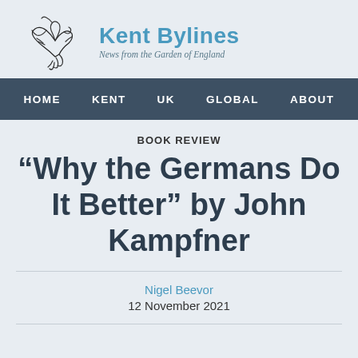[Figure (logo): Kent Bylines logo with bird illustration and site name 'Kent Bylines' and subtitle 'News from the Garden of England']
HOME  KENT  UK  GLOBAL  ABOUT
BOOK REVIEW
“Why the Germans Do It Better” by John Kampfner
Nigel Beevor
12 November 2021